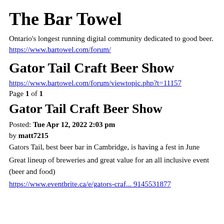The Bar Towel
Ontario's longest running digital community dedicated to good beer.
https://www.bartowel.com/forum/
Gator Tail Craft Beer Show
https://www.bartowel.com/forum/viewtopic.php?t=11157
Page 1 of 1
Gator Tail Craft Beer Show
Posted: Tue Apr 12, 2022 2:03 pm
by matt7215
Gators Tail, best beer bar in Cambridge, is having a fest in June
Great lineup of breweries and great value for an all inclusive event (beer and food)
https://www.eventbrite.ca/e/gators-craf... 9145531877